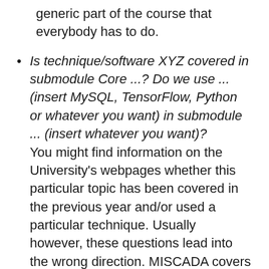generic part of the course that everybody has to do.
Is technique/software XYZ covered in submodule Core ...? Do we use ... (insert MySQL, TensorFlow, Python or whatever you want) in submodule ... (insert whatever you want)? You might find information on the University's webpages whether this particular topic has been covered in the previous year and/or used a particular technique. Usually however, these questions lead into the wrong direction. MISCADA covers fundamental concepts behind scientific computing and data analysis, i.e. behind the scenes, and from